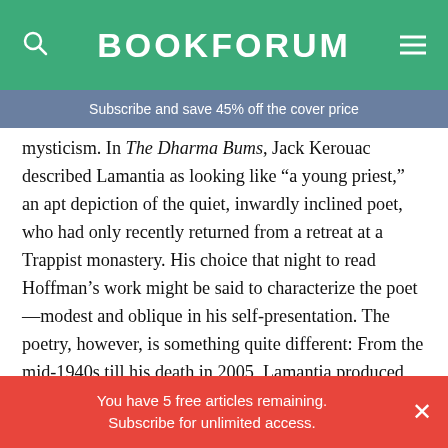BOOKFORUM
Subscribe and save 45% off the cover price
mysticism. In The Dharma Bums, Jack Kerouac described Lamantia as looking like “a young priest,” an apt depiction of the quiet, inwardly inclined poet, who had only recently returned from a retreat at a Trappist monastery. His choice that night to read Hoffman’s work might be said to characterize the poet—modest and oblique in his self-presentation. The poetry, however, is something quite different: From the mid-1940s till his death in 2005, Lamantia produced verse rich in flourish and invention, every bit as intense as Ginsberg’s, even as it tunes in to
You have 5 free articles remaining. Subscribe for unlimited access.